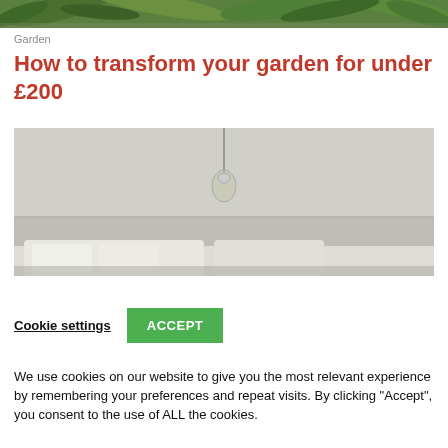[Figure (photo): Top strip of green tropical plant leaves, cropped]
Garden
How to transform your garden for under £200
[Figure (photo): Interior room scene with neutral/grey walls, a pendant light bulb hanging from the ceiling, and a white sofa partially visible at the bottom]
Cookie settings  ACCEPT
We use cookies on our website to give you the most relevant experience by remembering your preferences and repeat visits. By clicking “Accept”, you consent to the use of ALL the cookies.